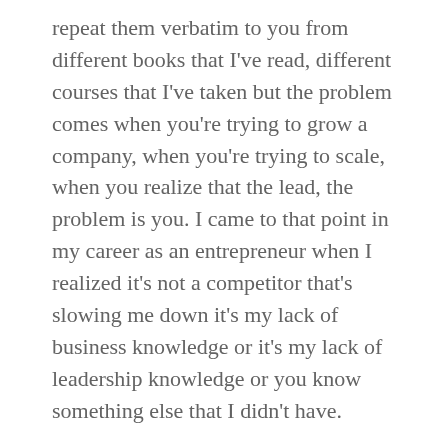repeat them verbatim to you from different books that I've read, different courses that I've taken but the problem comes when you're trying to grow a company, when you're trying to scale, when you realize that the lead, the problem is you. I came to that point in my career as an entrepreneur when I realized it's not a competitor that's slowing me down it's my lack of business knowledge or it's my lack of leadership knowledge or you know something else that I didn't have.
So, I spent a good amount of time focusing on myself, focusing inward I started reading a lot of books because it's lot easier to read books and learn than to fail and learn because that's